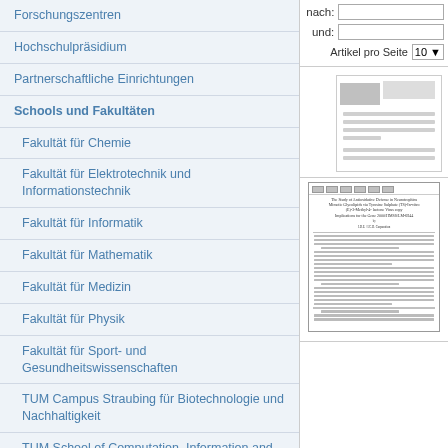Forschungszentren
Hochschulpräsidium
Partnerschaftliche Einrichtungen
Schools und Fakultäten
Fakultät für Chemie
Fakultät für Elektrotechnik und Informationstechnik
Fakultät für Informatik
Fakultät für Mathematik
Fakultät für Medizin
Fakultät für Physik
Fakultät für Sport- und Gesundheitswissenschaften
TUM Campus Straubing für Biotechnologie und Nachhaltigkeit
TUM School of Computation, Information and Technology in Gründung (1)
TUM School of Engineering and Design
[Figure (screenshot): Search filters on the right side: 'nach:' text input, 'und:' text input, 'Artikel pro Seite 10' dropdown]
[Figure (illustration): First document thumbnail placeholder with grey blocks]
[Figure (illustration): Second document thumbnail showing a scanned paper/article preview]